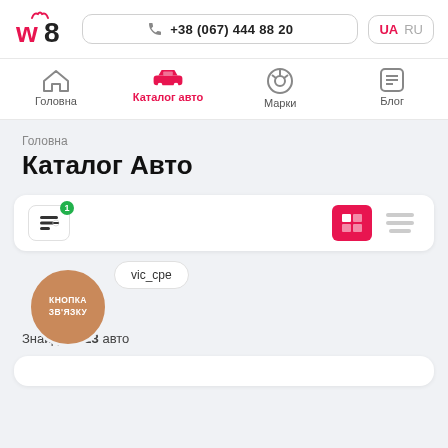w8 | +38 (067) 444 88 20 | UA RU
Головна
Каталог авто
Марки
Блог
Головна
Каталог Авто
[Figure (screenshot): Filter bar with filter icon badge 1 and grid/list view toggle buttons]
[Figure (screenshot): Orange circular CTA button labeled КНОПКА ЗВ'ЯЗКУ]
vic_cpe
Знайдено 23 авто